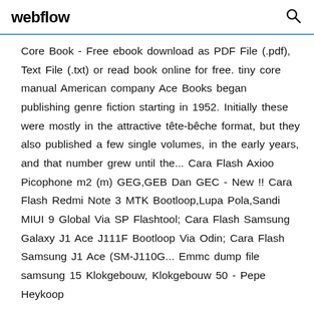webflow
Core Book - Free ebook download as PDF File (.pdf), Text File (.txt) or read book online for free. tiny core manual American company Ace Books began publishing genre fiction starting in 1952. Initially these were mostly in the attractive tête-bêche format, but they also published a few single volumes, in the early years, and that number grew until the... Cara Flash Axioo Picophone m2 (m) GEG,GEB Dan GEC - New !! Cara Flash Redmi Note 3 MTK Bootloop,Lupa Pola,Sandi MIUI 9 Global Via SP Flashtool; Cara Flash Samsung Galaxy J1 Ace J111F Bootloop Via Odin; Cara Flash Samsung J1 Ace (SM-J110G... Emmc dump file samsung 15 Klokgebouw, Klokgebouw 50 - Pepe Heykoop